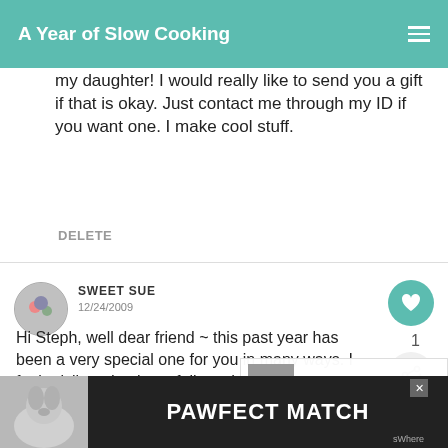A Year of Slow Cooking
my daughter! I would really like to send you a gift if that is okay. Just contact me through my ID if you want one. I make cool stuff.
DELETE
SWEET SUE
12/24/2009
Hi Steph, well dear friend ~ this past year has been a very special one for you in many ways. I feel privileged to have followed your success. May you have many more of the same.
[Figure (screenshot): What's Next overlay with thumbnail image labeled 'What I've Been Up To']
[Figure (infographic): PAWFECT MATCH advertisement banner with dog photo]